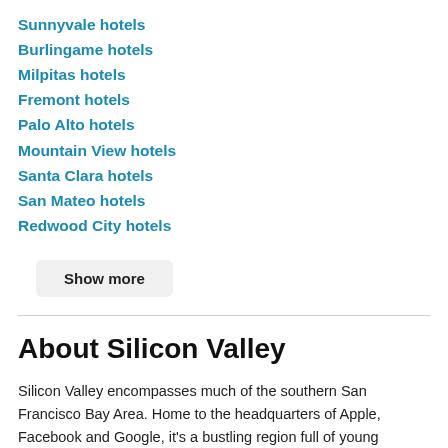Sunnyvale hotels
Burlingame hotels
Milpitas hotels
Fremont hotels
Palo Alto hotels
Mountain View hotels
Santa Clara hotels
San Mateo hotels
Redwood City hotels
Show more
About Silicon Valley
Silicon Valley encompasses much of the southern San Francisco Bay Area. Home to the headquarters of Apple, Facebook and Google, it's a bustling region full of young innovators that work in the technology field.